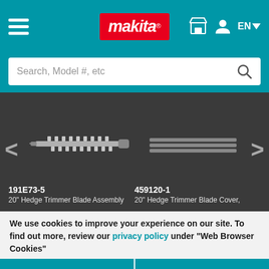Makita logo header with hamburger menu, search, store icon, user icon, EN language selector
[Figure (screenshot): Makita website header with teal background, hamburger menu on left, Makita red logo in center, store/user/EN icons on right, and search bar below]
[Figure (photo): Two product images on dark background: left shows a 20 inch hedge trimmer blade assembly (191E73-5), right shows a 20 inch hedge trimmer blade cover (459120-1). Navigation arrows on left and right.]
191E73-5
20" Hedge Trimmer Blade Assembly
459120-1
20" Hedge Trimmer Blade Cover,
We use cookies to improve your experience on our site. To find out more, review our privacy policy under "Web Browser Cookies"
ACCEPT ALL COOKIES   LEARN MORE